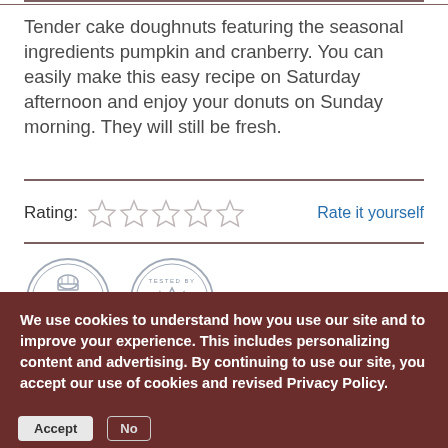Tender cake doughnuts featuring the seasonal ingredients pumpkin and cranberry. You can easily make this easy recipe on Saturday afternoon and enjoy your donuts on Sunday morning. They will still be fresh.
Rating:  ☆ ☆ ☆ ☆ ☆  Rate it yourself
[Figure (logo): Two circular badge stamps: 'CHEF EDDY RECIPE' and 'TESTED BY IMPERIAL SUGAR']
We use cookies to understand how you use our site and to improve your experience. This includes personalizing content and advertising. By continuing to use our site, you accept our use of cookies and revised Privacy Policy.